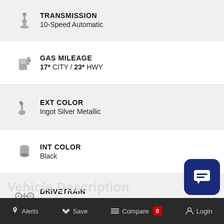TRANSMISSION: 10-Speed Automatic
GAS MILEAGE: 17* CITY / 23* HWY
EXT COLOR: Ingot Silver Metallic
INT COLOR: Black
DRIVETRAIN: 4X4
DOORS: 4
Alerts  Save  Compare 0  Login